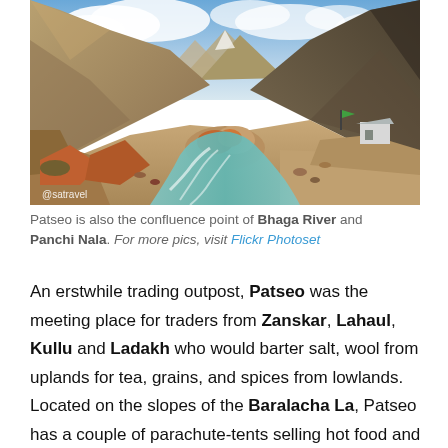[Figure (photo): A mountain river valley landscape, possibly Patseo in Himachal Pradesh, India. A turquoise glacial river flows through rocky terrain with barren mountain slopes and a cloudy blue sky. A small structure is visible on the right side. Watermark '@satravel' visible in the lower left.]
Patseo is also the confluence point of Bhaga River and Panchi Nala. For more pics, visit Flickr Photoset
An erstwhile trading outpost, Patseo was the meeting place for traders from Zanskar, Lahaul, Kullu and Ladakh who would barter salt, wool from uplands for tea, grains, and spices from lowlands. Located on the slopes of the Baralacha La, Patseo has a couple of parachute-tents selling hot food and limited supplies, a PWD Hut, a small